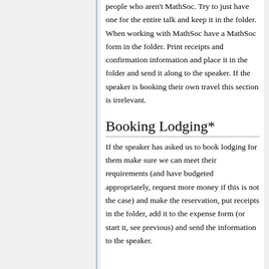people who aren't MathSoc. Try to just have one for the entire talk and keep it in the folder. When working with MathSoc have a MathSoc form in the folder. Print receipts and confirmation information and place it in the folder and send it along to the speaker. If the speaker is booking their own travel this section is irrelevant.
Booking Lodging*
If the speaker has asked us to book lodging for them make sure we can meet their requirements (and have budgeted appropriately, request more money if this is not the case) and make the reservation, put receipts in the folder, add it to the expense form (or start it, see previous) and send the information to the speaker.